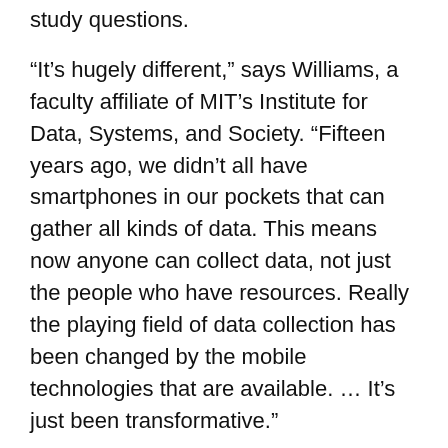study questions.
“It’s hugely different,” says Williams, a faculty affiliate of MIT’s Institute for Data, Systems, and Society. “Fifteen years ago, we didn’t all have smartphones in our pockets that can gather all kinds of data. This means now anyone can collect data, not just the people who have resources. Really the playing field of data collection has been changed by the mobile technologies that are available. … It’s just been transformative.”
In another chapter, titled “Hack it!,” Williams suggests that researchers should be resourceful about collecting large-scale data from private institutions when no comparable public data source exists. This does not mean literally hacking into